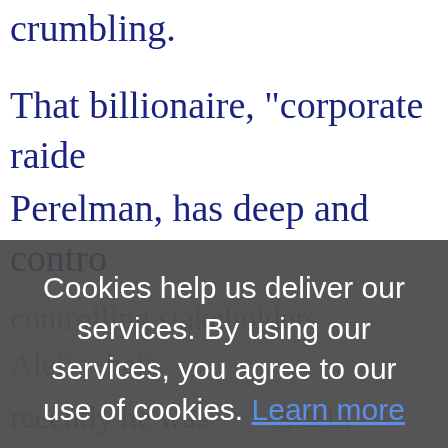crumbling.
That billionaire, "corporate raide
Perelman, has deep and contro
Cookies help us deliver our services. By using our services, you agree to our use of cookies. Learn more
controlling stakeholders Aleli
recently he was Altein
liquida assets in